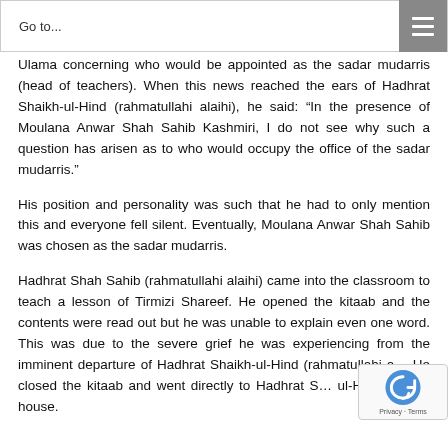Go to...
Ulama concerning who would be appointed as the sadar mudarris (head of teachers). When this news reached the ears of Hadhrat Shaikh-ul-Hind (rahmatullahi alaihi), he said: “In the presence of Moulana Anwar Shah Sahib Kashmiri, I do not see why such a question has arisen as to who would occupy the office of the sadar mudarris.”
His position and personality was such that he had to only mention this and everyone fell silent. Eventually, Moulana Anwar Shah Sahib was chosen as the sadar mudarris.
Hadhrat Shah Sahib (rahmatullahi alaihi) came into the classroom to teach a lesson of Tirmizi Shareef. He opened the kitaab and the contents were read out but he was unable to explain even one word. This was due to the severe grief he was experiencing from the imminent departure of Hadhrat Shaikh-ul-Hind (rahmatullahi a… He closed the kitaab and went directly to Hadhrat S… ul-Hind Sahib’s house.